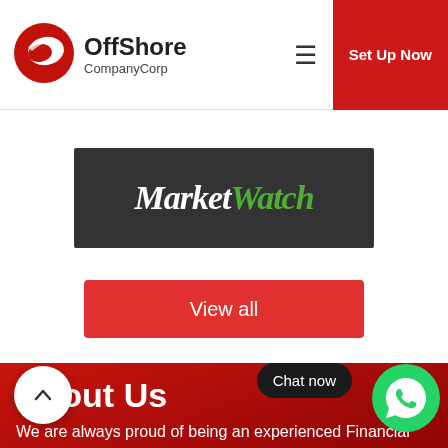[Figure (logo): OffShore CompanyCorp logo with red circular bird icon]
OffShore CompanyCorp | Set Up Now
[Figure (logo): MarketWatch logo on dark grey background]
View all
About Us
We are always proud of being an experienced Financial Corporate Services provider in the international market. We provide the best and most competitive